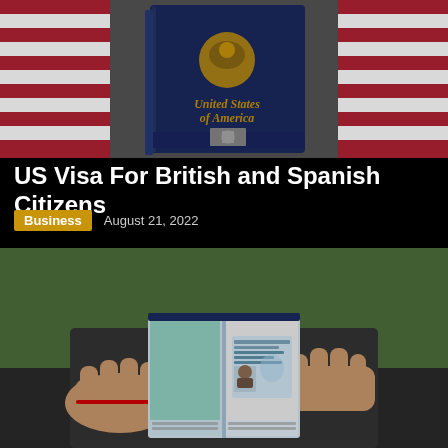[Figure (photo): US passport booklet against American flag background with red and white stripes visible]
US Visa For British and Spanish Citizens
Business   August 21, 2022
[Figure (photo): Person holding open passport showing visa page with photo and stamps]